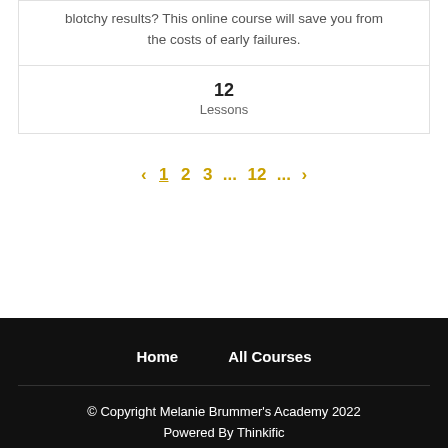blotchy results? This online course will save you from the costs of early failures.
12
Lessons
< 1 2 3 ... 12 ... >
Home   All Courses
© Copyright Melanie Brummer's Academy 2022
Powered By Thinkific